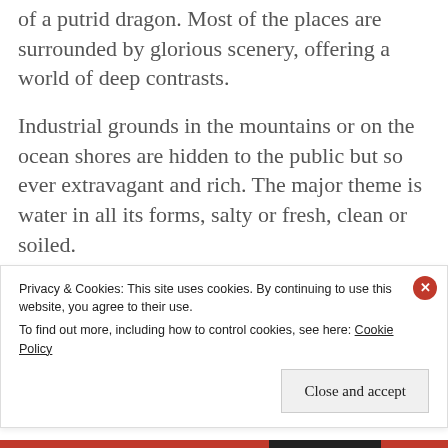of a putrid dragon. Most of the places are surrounded by glorious scenery, offering a world of deep contrasts.
Industrial grounds in the mountains or on the ocean shores are hidden to the public but so ever extravagant and rich. The major theme is water in all its forms, salty or fresh, clean or soiled.
Privacy & Cookies: This site uses cookies. By continuing to use this website, you agree to their use.
To find out more, including how to control cookies, see here: Cookie Policy